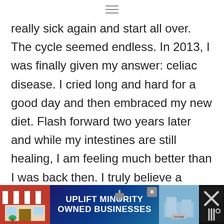≡
really sick again and start all over. The cycle seemed endless. In 2013, I was finally given my answer: celiac disease. I cried long and hard for a good day and then embraced my new diet. Flash forward two years later and while my intestines are still healing, I am feeling much better than I was back then. I truly believe a gluten-free diet can help those with celiac disease to reduce their inflammation and heal their intestines. But eating gluten-free does not mean taste free!
[Figure (screenshot): Advertisement banner at the bottom: UPLIFT MINORITY OWNED BUSINESSES with store illustration and close button]